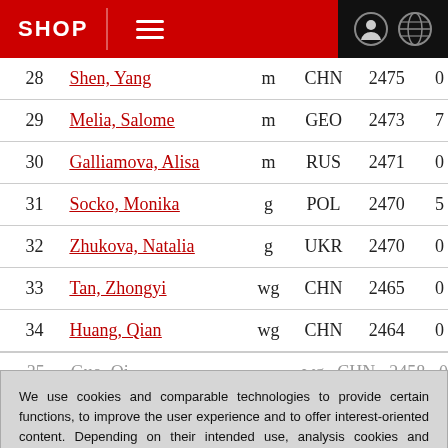SHOP
| # | Name | Title | Country | Rating |  |
| --- | --- | --- | --- | --- | --- |
| 28 | Shen, Yang | m | CHN | 2475 | 0 |
| 29 | Melia, Salome | m | GEO | 2473 | 7 |
| 30 | Galliamova, Alisa | m | RUS | 2471 | 0 |
| 31 | Socko, Monika | g | POL | 2470 | 5 |
| 32 | Zhukova, Natalia | g | UKR | 2470 | 0 |
| 33 | Tan, Zhongyi | wg | CHN | 2465 | 0 |
| 34 | Huang, Qian | wg | CHN | 2464 | 0 |
| 35 | Guo, Qi | wg | CHN | 2458 | 0 |
We use cookies and comparable technologies to provide certain functions, to improve the user experience and to offer interest-oriented content. Depending on their intended use, analysis cookies and marketing cookies may be used in addition to technically required cookies. Here you can make detailed settings or revoke your consent (if necessary partially) with effect for the future. Further information can be found in our data protection declaration.